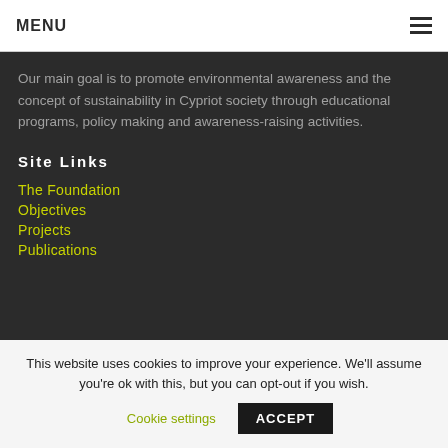MENU
Our main goal is to promote environmental awareness and the concept of sustainability in Cypriot society through educational programs, policy making and awareness-raising activities.
Site Links
The Foundation
Objectives
Projects
Publications
This website uses cookies to improve your experience. We'll assume you're ok with this, but you can opt-out if you wish.